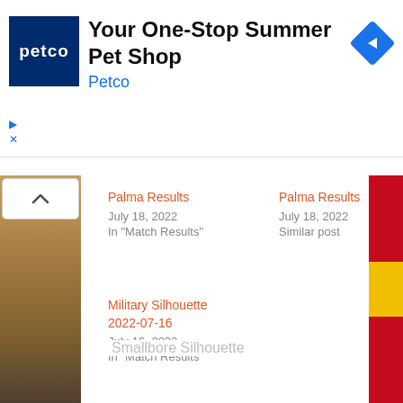[Figure (screenshot): Petco advertisement banner with Petco logo, title 'Your One-Stop Summer Pet Shop', brand name 'Petco' in blue, and a blue navigation arrow icon on the right]
Palma Results
July 18, 2022
In "Match Results"
Palma Results
July 18, 2022
Similar post
Military Silhouette 2022-07-16
July 16, 2022
In "Match Results"
Smallbore Silhouette
[Figure (photo): Desert/arid landscape background with what appears to be a Spanish flag strip on the right edge]